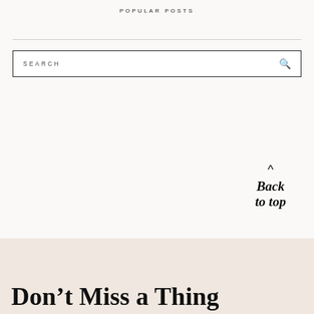POPULAR POSTS
[Figure (other): Search input box with label SEARCH and magnifying glass icon on the right]
[Figure (illustration): Handwritten cursive script reading 'Back to top' with a caret/hat symbol above it]
Don't Miss a Thing